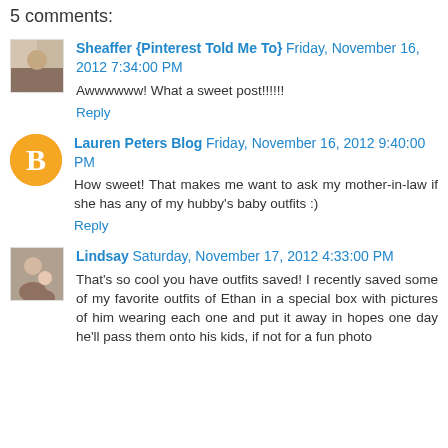5 comments:
Sheaffer {Pinterest Told Me To} Friday, November 16, 2012 7:34:00 PM
Awwwwww! What a sweet post!!!!!!
Reply
Lauren Peters Blog Friday, November 16, 2012 9:40:00 PM
How sweet! That makes me want to ask my mother-in-law if she has any of my hubby's baby outfits :)
Reply
Lindsay Saturday, November 17, 2012 4:33:00 PM
That's so cool you have outfits saved! I recently saved some of my favorite outfits of Ethan in a special box with pictures of him wearing each one and put it away in hopes one day he'll pass them onto his kids, if not for a fun photo